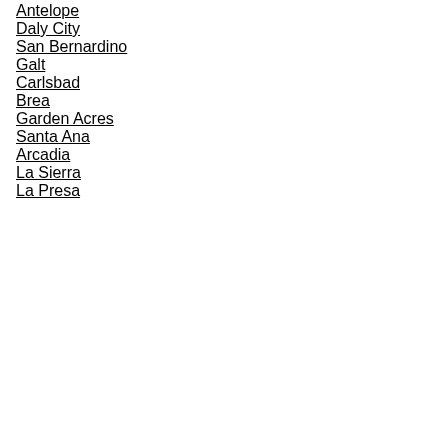Antelope
Daly City
San Bernardino
Galt
Carlsbad
Brea
Garden Acres
Santa Ana
Arcadia
La Sierra
La Presa